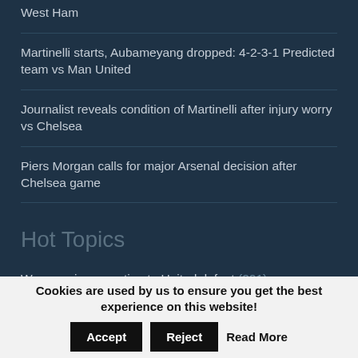West Ham
Martinelli starts, Aubameyang dropped: 4-2-3-1 Predicted team vs Man United
Journalist reveals condition of Martinelli after injury worry vs Chelsea
Piers Morgan calls for major Arsenal decision after Chelsea game
Hot Topics
Wenger gives reaction to United defeat (201)
Celebrity gooner calls for Wenger's sacking (190)
Cookies are used by us to ensure you get the best experience on this website!
Accept | Reject | Read More